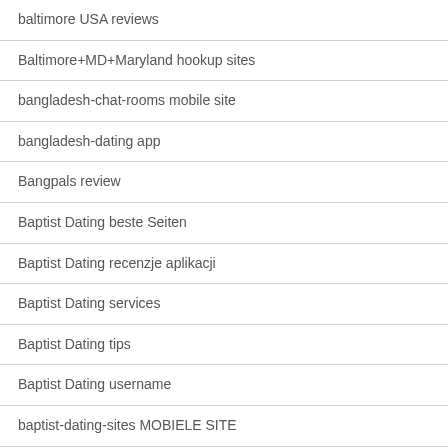baltimore USA reviews
Baltimore+MD+Maryland hookup sites
bangladesh-chat-rooms mobile site
bangladesh-dating app
Bangpals review
Baptist Dating beste Seiten
Baptist Dating recenzje aplikacji
Baptist Dating services
Baptist Dating tips
Baptist Dating username
baptist-dating-sites MOBIELE SITE
baptist-seznamka dating